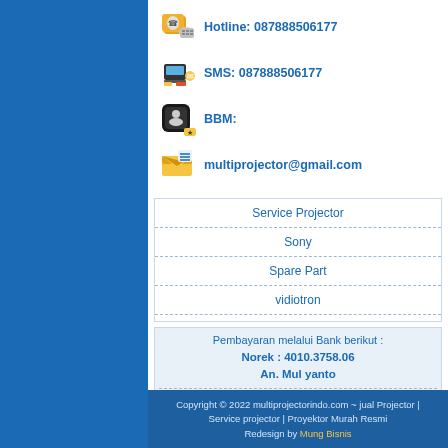Hotline: 087888506177
SMS: 087888506177
BBM:
multiprojector@gmail.com
Service Projector
Sony
Spare Part
vidiotron
Pembayaran melalui Bank berikut :
Norek : 4010.3758.06
An. Mul yanto
Jasa Pengiriman Disupport oleh :
Copyright © 2022 multiprojectorindo.com ~ jual Projector | Service projector | Proyektor Murah Resmi Redesign by Mung Bisnis